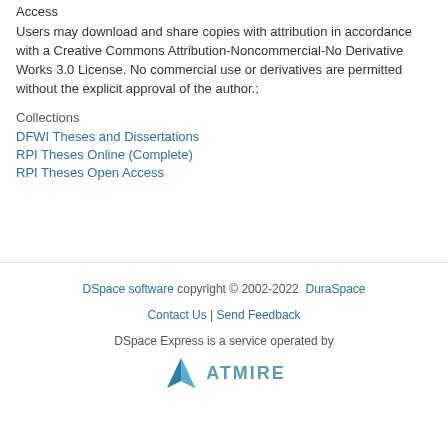Access
Users may download and share copies with attribution in accordance with a Creative Commons Attribution-Noncommercial-No Derivative Works 3.0 License. No commercial use or derivatives are permitted without the explicit approval of the author.;
Collections
DFWI Theses and Dissertations
RPI Theses Online (Complete)
RPI Theses Open Access
DSpace software copyright © 2002-2022  DuraSpace | Contact Us | Send Feedback | DSpace Express is a service operated by Atmire